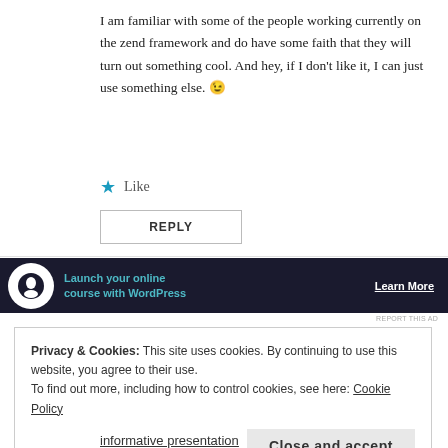I am familiar with some of the people working currently on the zend framework and do have some faith that they will turn out something cool. And hey, if I don't like it, I can just use something else. 😉
★ Like
REPLY
[Figure (screenshot): Dark advertisement banner for launching an online course with WordPress. Shows a circular logo icon, teal text 'Launch your online course with WordPress', and white underlined 'Learn More' text.]
REPORT THIS AD
Privacy & Cookies: This site uses cookies. By continuing to use this website, you agree to their use.
To find out more, including how to control cookies, see here: Cookie Policy
Close and accept
informative presentation